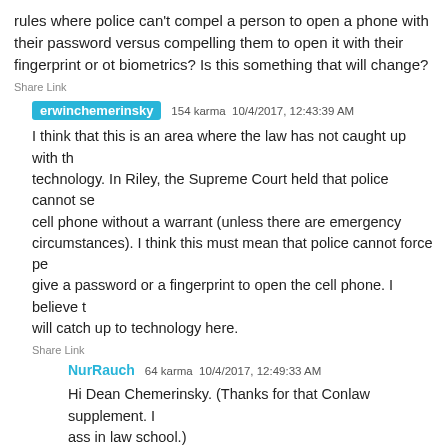rules where police can't compel a person to open a phone with their password versus compelling them to open it with their fingerprint or other biometrics? Is this something that will change?
Share Link
erwinchemerinsky  154 karma  10/4/2017, 12:43:39 AM
I think that this is an area where the law has not caught up with the technology. In Riley, the Supreme Court held that police cannot search a cell phone without a warrant (unless there are emergency circumstances). I think this must mean that police cannot force people to give a password or a fingerprint to open the cell phone. I believe the law will catch up to technology here.
Share Link
NurRauch  64 karma  10/4/2017, 12:49:33 AM
Hi Dean Chemerinsky. (Thanks for that Conlaw supplement. It saved my ass in law school.)
I think a lot of these cases involve warrants. Is it as constitutionally problematic or an issue of law catching up with the times if law enforcement have a warrant to compel the password?
Share Link